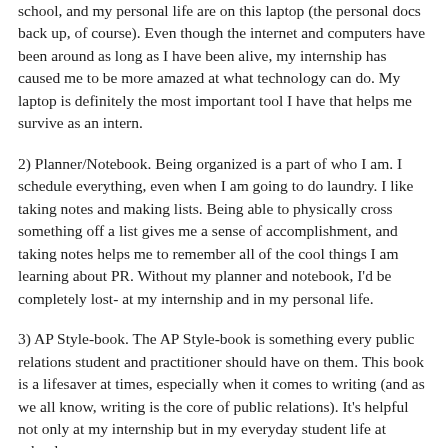school, and my personal life are on this laptop (the personal docs back up, of course). Even though the internet and computers have been around as long as I have been alive, my internship has caused me to be more amazed at what technology can do. My laptop is definitely the most important tool I have that helps me survive as an intern.
2) Planner/Notebook. Being organized is a part of who I am. I schedule everything, even when I am going to do laundry. I like taking notes and making lists. Being able to physically cross something off a list gives me a sense of accomplishment, and taking notes helps me to remember all of the cool things I am learning about PR. Without my planner and notebook, I’d be completely lost- at my internship and in my personal life.
3) AP Style-book. The AP Style-book is something every public relations student and practitioner should have on them. This book is a lifesaver at times, especially when it comes to writing (and as we all know, writing is the core of public relations). It’s helpful not only at my internship but in my everyday student life at school.
4) MTA Subway Card. It’s no surprise that living in Manhattan is incredibly difficult due to living in such an area. To get to this i